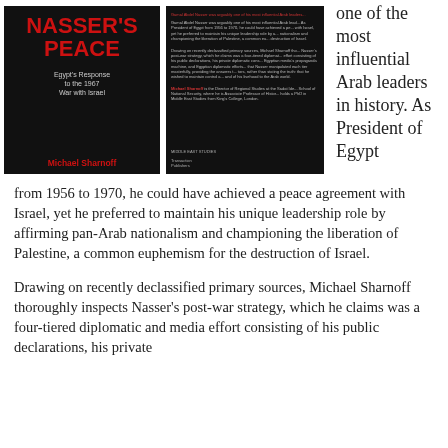[Figure (photo): Book cover image showing front and back of 'Nasser's Peace: Egypt's Response to the 1967 War with Israel' by Michael Sharnoff, published by Transaction Publishers. Front cover has red title on black background; back cover has review blurbs and description text on black background.]
one of the most influential Arab leaders in history. As President of Egypt from 1956 to 1970, he could have achieved a peace agreement with Israel, yet he preferred to maintain his unique leadership role by affirming pan-Arab nationalism and championing the liberation of Palestine, a common euphemism for the destruction of Israel.
Drawing on recently declassified primary sources, Michael Sharnoff thoroughly inspects Nasser's post-war strategy, which he claims was a four-tiered diplomatic and media effort consisting of his public declarations, his private